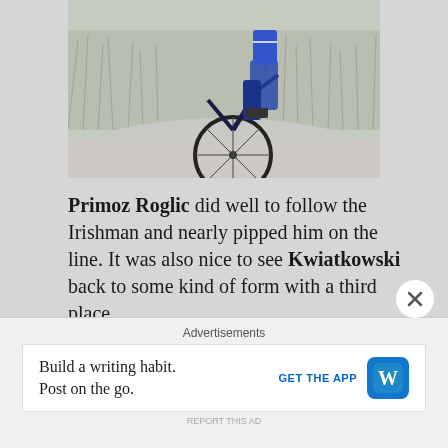[Figure (photo): Cropped photo of a cyclist on a road, showing the lower body of the bicycle and rider with grass/reeds in the background]
Primoz Roglic did well to follow the Irishman and nearly pipped him on the line. It was also nice to see Kwiatkowski back to some kind of form with a third place.
Tomorrow's stage will also go a long way to shape the GC. Let's take a look...
The Route
Advertisements
Build a writing habit. Post on the go. GET THE APP